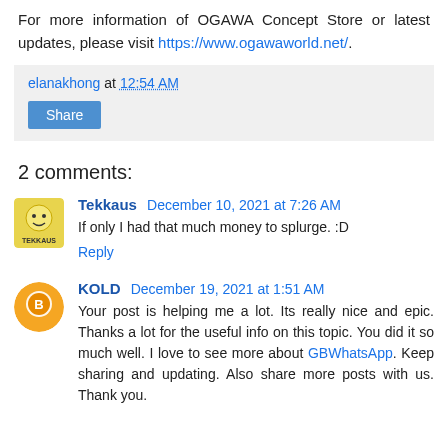For more information of OGAWA Concept Store or latest updates, please visit https://www.ogawaworld.net/.
elanakhong at 12:54 AM
Share
2 comments:
Tekkaus December 10, 2021 at 7:26 AM
If only I had that much money to splurge. :D
Reply
KOLD December 19, 2021 at 1:51 AM
Your post is helping me a lot. Its really nice and epic. Thanks a lot for the useful info on this topic. You did it so much well. I love to see more about GBWhatsApp. Keep sharing and updating. Also share more posts with us. Thank you.